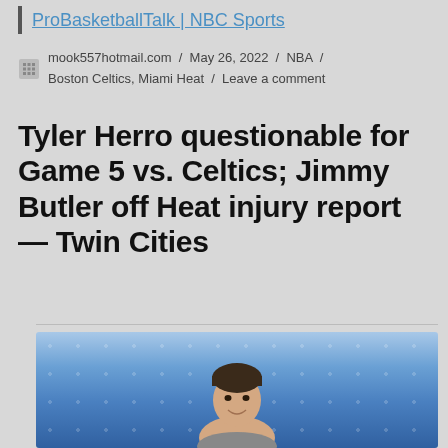ProBasketballTalk | NBC Sports
mook557hotmail.com / May 26, 2022 / NBA / Boston Celtics, Miami Heat / Leave a comment
Tyler Herro questionable for Game 5 vs. Celtics; Jimmy Butler off Heat injury report — Twin Cities
[Figure (photo): Photo of a young man smiling, with a blurred blue background featuring white dot patterns, likely inside a basketball arena.]